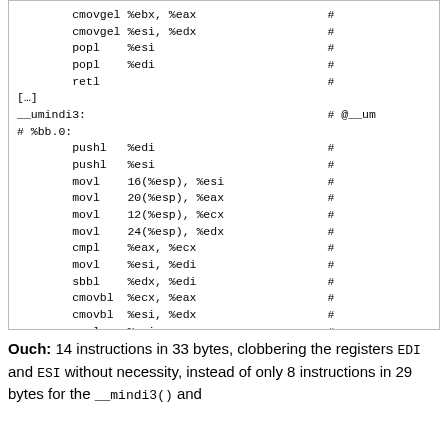[Figure (other): Assembly code listing showing x86 instructions including cmovgel, popl, retl, pushl, movl, cmpl, sbbl, cmovbl instructions with # comment markers, function label __umindi3, and .ident directive for clang version 10.0.0]
Ouch: 14 instructions in 33 bytes, clobbering the registers EDI and ESI without necessity, instead of only 8 instructions in 29 bytes for the __mindi3() and